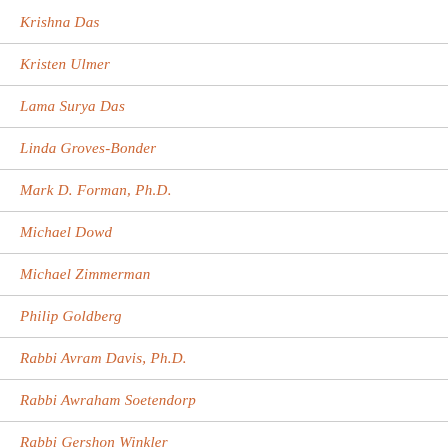Krishna Das
Kristen Ulmer
Lama Surya Das
Linda Groves-Bonder
Mark D. Forman, Ph.D.
Michael Dowd
Michael Zimmerman
Philip Goldberg
Rabbi Avram Davis, Ph.D.
Rabbi Awraham Soetendorp
Rabbi Gershon Winkler